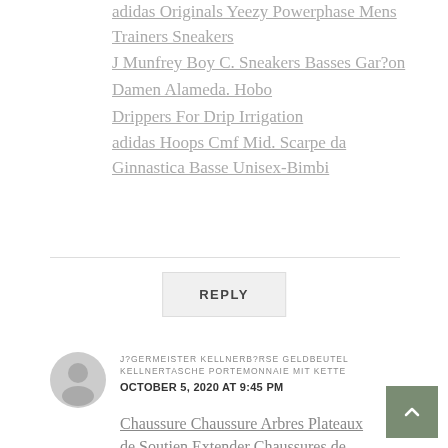adidas Originals Yeezy Powerphase Mens Trainers Sneakers
J Munfrey Boy C. Sneakers Basses Gar?on
Damen Alameda. Hobo
Drippers For Drip Irrigation
adidas Hoops Cmf Mid. Scarpe da Ginnastica Basse Unisex-Bimbi
REPLY
J?GERMEISTER KELLNERB?RSE GELDBEUTEL KELLNERTASCHE PORTEMONNAIE MIT KETTE
OCTOBER 5, 2020 AT 9:45 PM
Chaussure Chaussure Arbres Plateaux de Soutien Extender Chaussures de Soutien en Bois Bottes à Talons Hauts Pompes